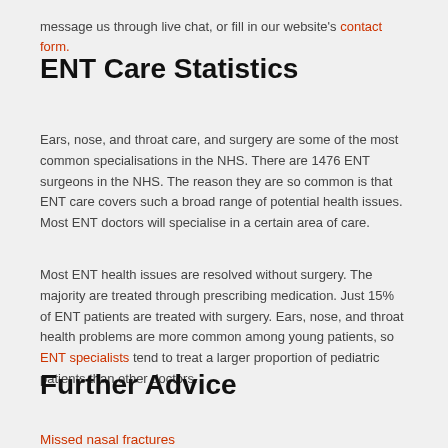message us through live chat, or fill in our website's contact form.
ENT Care Statistics
Ears, nose, and throat care, and surgery are some of the most common specialisations in the NHS. There are 1476 ENT surgeons in the NHS. The reason they are so common is that ENT care covers such a broad range of potential health issues. Most ENT doctors will specialise in a certain area of care.
Most ENT health issues are resolved without surgery. The majority are treated through prescribing medication. Just 15% of ENT patients are treated with surgery. Ears, nose, and throat health problems are more common among young patients, so ENT specialists tend to treat a larger proportion of pediatric patients than other doctors.
Further Advice
Missed nasal fractures